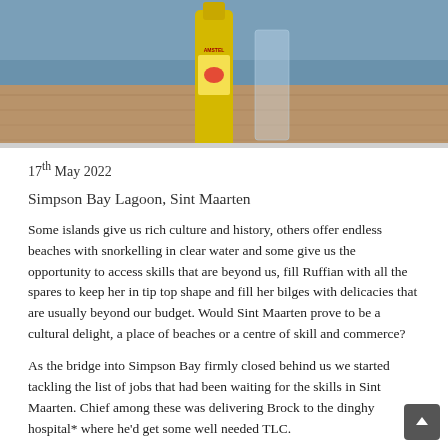[Figure (photo): Photo of a beer bottle (Amstel) and a glass on a wooden table, with water visible in the background.]
17th May 2022
Simpson Bay Lagoon, Sint Maarten
Some islands give us rich culture and history, others offer endless beaches with snorkelling in clear water and some give us the opportunity to access skills that are beyond us, fill Ruffian with all the spares to keep her in tip top shape and fill her bilges with delicacies that are usually beyond our budget. Would Sint Maarten prove to be a cultural delight, a place of beaches or a centre of skill and commerce?
As the bridge into Simpson Bay firmly closed behind us we started tackling the list of jobs that had been waiting for the skills in Sint Maarten. Chief among these was delivering Brock to the dinghy hospital* where he'd get some well needed TLC.
Giving Brock this TLC was no easy affair and after inflating little